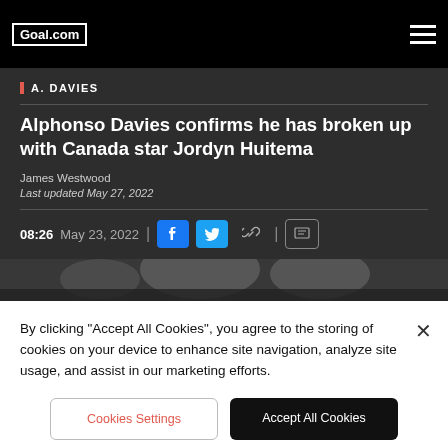Goal.com
A. DAVIES
Alphonso Davies confirms he has broken up with Canada star Jordyn Huitema
James Westwood
Last updated May 27, 2022
08:26 May 23, 2022
By clicking "Accept All Cookies", you agree to the storing of cookies on your device to enhance site navigation, analyze site usage, and assist in our marketing efforts.
Cookies Settings
Accept All Cookies